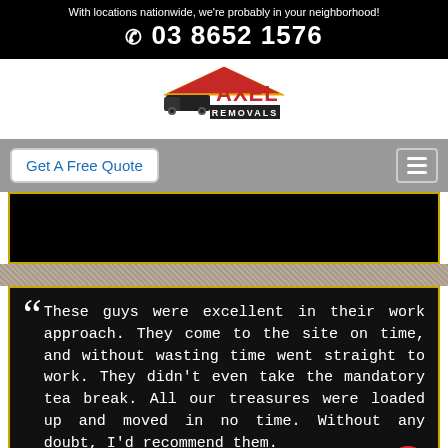With locations nationwide, we're probably in your neighborhood!
📞 03 8652 1576
[Figure (logo): Axel Removals logo with house roof graphic and moving truck]
Get A Free Quote
[Figure (other): Navigation hamburger menu button]
[Figure (other): Black rectangle video/image placeholder]
These guys were excellent in their work approach. They come to the site on time, and without wasting time went straight to work. They didn't even take the mandatory tea break. All our treasures were loaded up and moved in no time. Without any doubt, I'd recommend them.